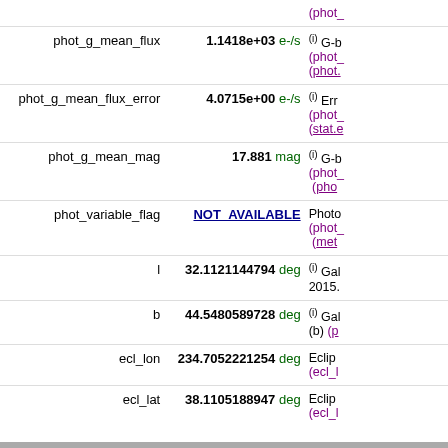| Name | Value | Description |
| --- | --- | --- |
| phot_g_mean_flux | 1.1418e+03 e-/s | (i) G-b
(phot_
(phot. |
| phot_g_mean_flux_error | 4.0715e+00 e-/s | (i) Err
(phot_
(stat.e |
| phot_g_mean_mag | 17.881 mag | (i) G-b
(phot_
(pho |
| phot_variable_flag | NOT_AVAILABLE | Photo
(phot_
(met |
| l | 32.1121144794 deg | (i) Gal
2015. |
| b | 44.5480589728 deg | (i) Gal
(b) (p |
| ecl_lon | 234.7052221254 deg | Eclip
(ecl_l |
| ecl_lat | 38.1105188947 deg | Eclip
(ecl_l |